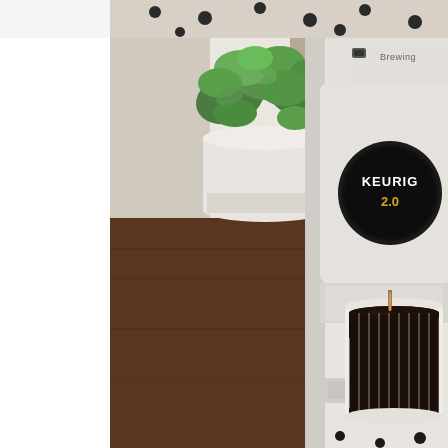[Figure (photo): A Keurig 2.0 white coffee maker brewing coffee into a white ribbed mug on a dark wood table, with a white potted green plant in the background. The top portion shows a partial view of a dotted fabric item. The machine has a black circular logo badge reading 'KEURIG 2.0' in gold text, and a 'Brewing' label visible at the top right.]